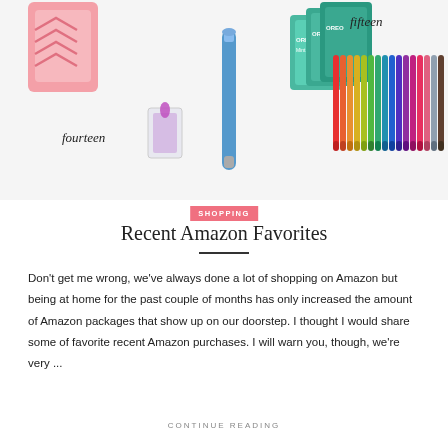[Figure (illustration): Collage of Amazon product images: pink patterned candle/item top-left, small glass candle with purple flame labeled 'fourteen', blue lighter/pen, stacks of mint Oreo cookies, row of colorful pens/markers labeled 'fifteen']
SHOPPING
Recent Amazon Favorites
Don't get me wrong, we've always done a lot of shopping on Amazon but being at home for the past couple of months has only increased the amount of Amazon packages that show up on our doorstep. I thought I would share some of favorite recent Amazon purchases. I will warn you, though, we're very ...
CONTINUE READING